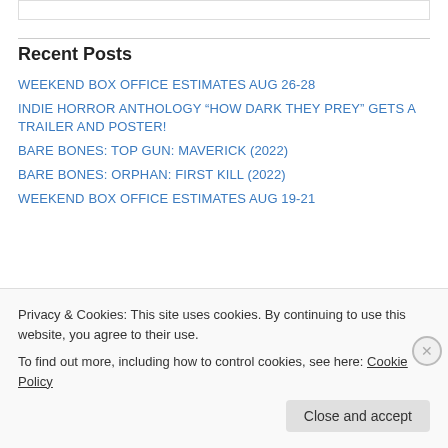Recent Posts
WEEKEND BOX OFFICE ESTIMATES AUG 26-28
INDIE HORROR ANTHOLOGY “HOW DARK THEY PREY” GETS A TRAILER AND POSTER!
BARE BONES: TOP GUN: MAVERICK (2022)
BARE BONES: ORPHAN: FIRST KILL (2022)
WEEKEND BOX OFFICE ESTIMATES AUG 19-21
Categories
Privacy & Cookies: This site uses cookies. By continuing to use this website, you agree to their use.
To find out more, including how to control cookies, see here: Cookie Policy
Close and accept